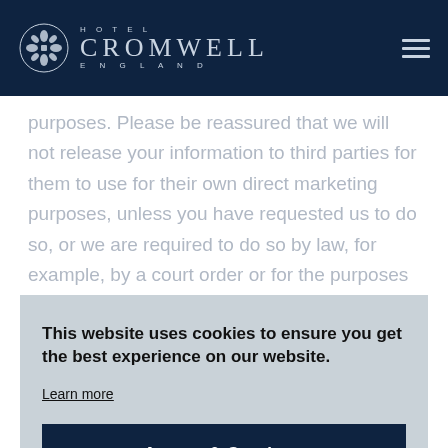HOTEL CROMWELL ENGLAND
purposes. Please be reassured that we will not release your information to third parties for them to use for their own direct marketing purposes, unless you have requested us to do so, or we are required to do so by law, for example, by a court order or for the purposes of prevention of fraud or other crime.
This website uses cookies to ensure you get the best experience on our website.
Learn more
Accept & Continue
contact us.